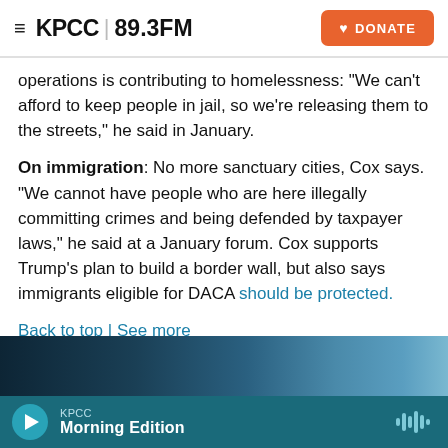KPCC 89.3FM | DONATE
operations is contributing to homelessness: “We can’t afford to keep people in jail, so we’re releasing them to the streets,” he said in January.
On immigration: No more sanctuary cities, Cox says. “We cannot have people who are here illegally committing crimes and being defended by taxpayer laws,” he said at a January forum. Cox supports Trump’s plan to build a border wall, but also says immigrants eligible for DACA should be protected.
Back to top | See more
[Figure (photo): Partial image of a person, dark blue/teal background]
KPCC Morning Edition (audio player)